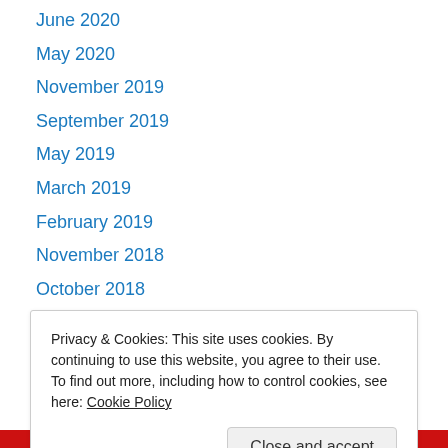June 2020
May 2020
November 2019
September 2019
May 2019
March 2019
February 2019
November 2018
October 2018
September 2018
July 2018
June 2018
May 2018
Privacy & Cookies: This site uses cookies. By continuing to use this website, you agree to their use.
To find out more, including how to control cookies, see here: Cookie Policy
Close and accept